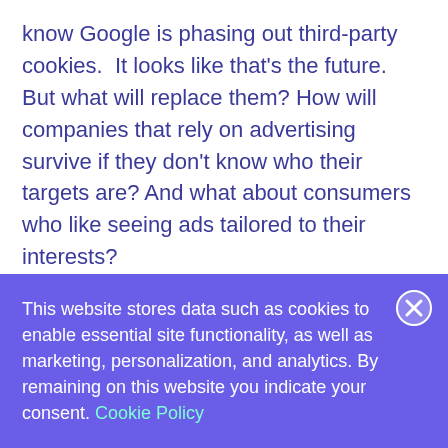know Google is phasing out third-party cookies.  It looks like that's the future.  But what will replace them? How will companies that rely on advertising survive if they don't know who their targets are? And what about consumers who like seeing ads tailored to their interests?

No one knows yet. Sure some ideas are floating around, but no consensus on the way forward.  In a session on a "cookieless future," executives said the focus is on moving away from what users and regulators might consider the "bad stuff" without
This website stores data such as cookies to enable essential site functionality, as well as marketing, personalization, and analytics. By remaining on this website you indicate your consent. Cookie Policy